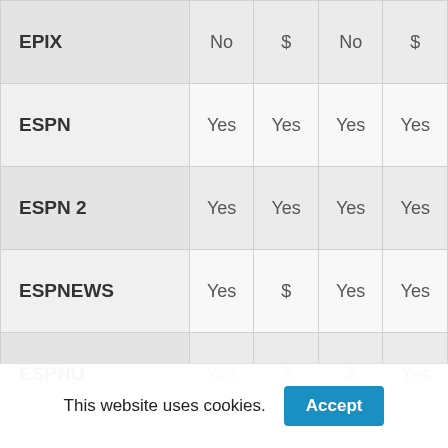| Channel | Col1 | Col2 | Col3 | Col4 |
| --- | --- | --- | --- | --- |
| EPIX | No | $ | No | $ |
| ESPN | Yes | Yes | Yes | Yes |
| ESPN 2 | Yes | Yes | Yes | Yes |
| ESPNEWS | Yes | $ | Yes | Yes |
| ESPNU | Yes | $ | $ | Yes |
| Food | Yes | $ | Yes | ... |
This website uses cookies. Accept